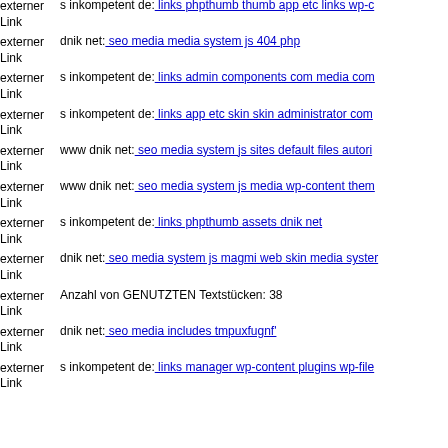externer Link s inkompetent de: links phpthumb thumb app etc links wp-c
externer Link dnik net: seo media media system js 404 php
externer Link s inkompetent de: links admin components com media com
externer Link s inkompetent de: links app etc skin skin administrator com
externer Link www dnik net: seo media system js sites default files autori
externer Link www dnik net: seo media system js media wp-content them
externer Link s inkompetent de: links phpthumb assets dnik net
externer Link dnik net: seo media system js magmi web skin media syster
externer Link Anzahl von GENUTZTEN Textstücken: 38
externer Link dnik net: seo media includes tmpuxfugnf'
externer Link s inkompetent de: links manager wp-content plugins wp-file